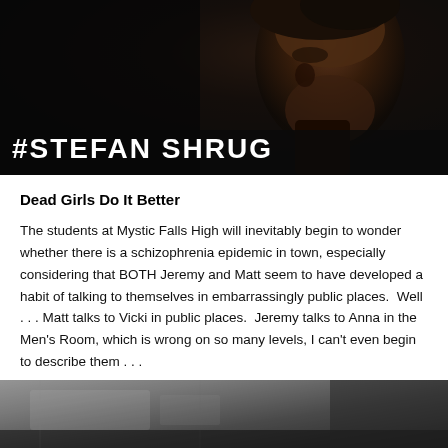[Figure (photo): Dark close-up photo of a young man looking down, with white bold text overlay reading #STEFAN SHRUG at the bottom]
Dead Girls Do It Better
The students at Mystic Falls High will inevitably begin to wonder whether there is a schizophrenia epidemic in town, especially considering that BOTH Jeremy and Matt seem to have developed a habit of talking to themselves in embarrassingly public places.  Well . . . Matt talks to Vicki in public places.  Jeremy talks to Anna in the Men's Room, which is wrong on so many levels, I can't even begin to describe them . . .
[Figure (photo): Partial dark photo visible at the bottom of the page, showing a blurred interior scene]